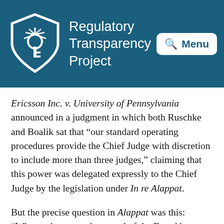Regulatory Transparency Project
Ericsson Inc. v. University of Pennsylvania announced in a judgment in which both Ruschke and Boalik sat that “our standard operating procedures provide the Chief Judge with discretion to include more than three judges,” claiming that this power was delegated expressly to the Chief Judge by the legislation under In re Alappat.
But the precise question in Alappat was this: “When a three-member panel of the Board has rendered its decision, does the Commissioner have the authority to constitute a new panel for purposes of reconsideration?” The case does not mention any power to reconsider if the initial panel has not